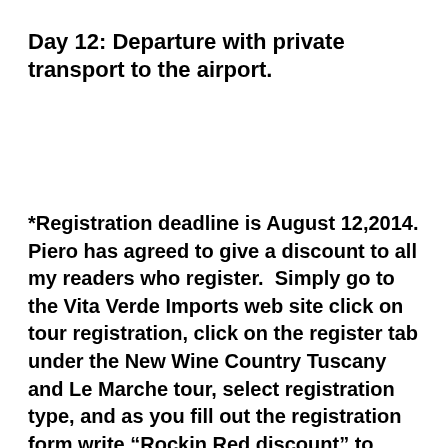Day 12: Departure with private transport to the airport.
*Registration deadline is August 12,2014. Piero has agreed to give a discount to all my readers who register.  Simply go to the Vita Verde Imports web site click on tour registration, click on the register tab under the New Wine Country Tuscany and Le Marche tour, select registration type, and as you fill out the registration form write “Rockin Red discount” to receive $100 off a single registration and $250 off a double